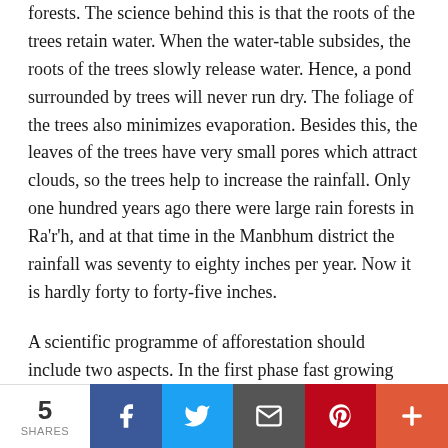forests. The science behind this is that the roots of the trees retain water. When the water-table subsides, the roots of the trees slowly release water. Hence, a pond surrounded by trees will never run dry. The foliage of the trees also minimizes evaporation. Besides this, the leaves of the trees have very small pores which attract clouds, so the trees help to increase the rainfall. Only one hundred years ago there were large rain forests in Ra'r'h, and at that time in the Manbhum district the rainfall was seventy to eighty inches per year. Now it is hardly forty to forty-five inches.
A scientific programme of afforestation should include two aspects. In the first phase fast growing trees should be planted. Trees which grow to their full height in six months to two years and provide dense green cover should be selected. In the second phase, trees which take longer to grow but also provide dense green cover should be planted. This approach will
5 SHARES | Facebook | Twitter | Email | Pinterest | More